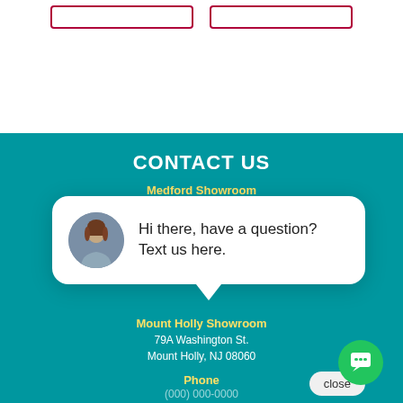[Figure (screenshot): Top white section with two red-bordered button outlines]
CONTACT US
Medford Showroom
[Figure (screenshot): Chat popup with avatar photo and text: Hi there, have a question? Text us here. With a close button.]
Mount Holly Showroom
79A Washington St.
Mount Holly, NJ 08060
Phone